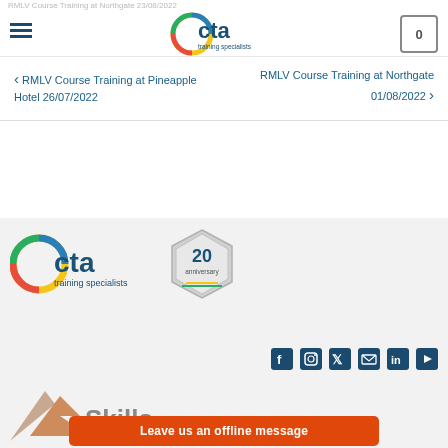RMLV Course Training at Northgate 23/08/2022
[Figure (logo): CTA Training Specialists logo in top navigation bar]
RMLV Course Training at Pineapple Hotel 26/07/2022
RMLV Course Training at Northgate 01/08/2022
[Figure (logo): CTA Training Specialists logo with 20th anniversary badge in footer]
[Figure (infographic): Social media icons: Facebook, Instagram, Twitter, Email, LinkedIn, YouTube]
[Figure (logo): Skills logo partially visible at bottom left]
Leave us an offline message